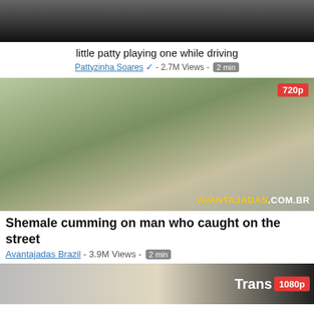[Figure (screenshot): Top partial thumbnail of a video, dark background]
little patty playing one while driving
Pattyzinha Soares ✔ - 2.7M Views - 2 min
[Figure (screenshot): Thumbnail showing a woman leaning into a car on a street, watermark 'AVANTAJADAS.COM.BR', badge '720p']
Shemale cumming on man who caught on the street
Avantajadas Brazil - 3.9M Views - 2 min
[Figure (screenshot): Partial thumbnail with 'Trans' text and '1080p' badge]